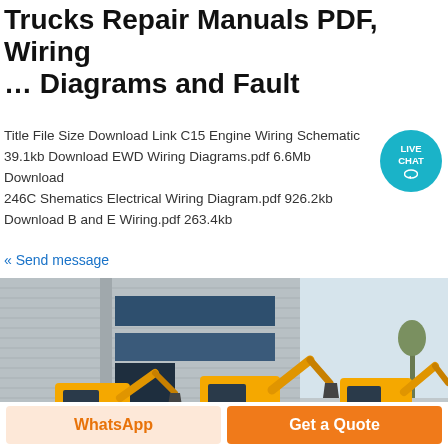Trucks Repair Manuals PDF, Wiring … Diagrams and Fault
Title File Size Download Link C15 Engine Wiring Schematic 39.1kb Download EWD Wiring Diagrams.pdf 6.6Mb Download 246C Shematics Electrical Wiring Diagram.pdf 926.2kb Download B and E Wiring.pdf 263.4kb
« Send message
[Figure (photo): Yellow construction excavators/backhoe loaders parked in front of an industrial warehouse building with horizontal metal cladding and large windows]
WhatsApp
Get a Quote